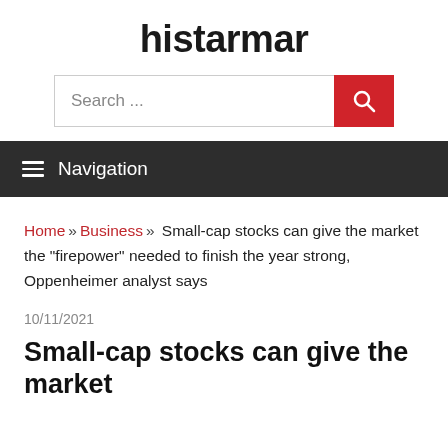histarmar
[Figure (other): Search bar with text input 'Search ...' and red search button with magnifying glass icon]
Navigation
Home » Business » Small-cap stocks can give the market the "firepower" needed to finish the year strong, Oppenheimer analyst says
10/11/2021
Small-cap stocks can give the market